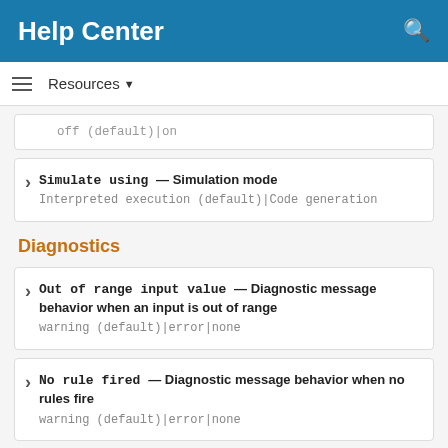Help Center
Resources ▾
off (default)|on
Simulate using — Simulation mode
Interpreted execution (default)|Code generation
Diagnostics
Out of range input value — Diagnostic message behavior when an input is out of range
warning (default)|error|none
No rule fired — Diagnostic message behavior when no rules fire
warning (default)|error|none